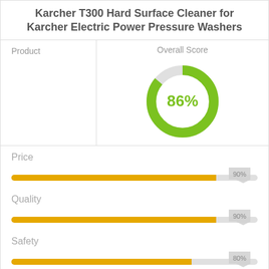Karcher T300 Hard Surface Cleaner for Karcher Electric Power Pressure Washers
[Figure (donut-chart): Overall Score]
[Figure (bar-chart): Price]
[Figure (bar-chart): Quality]
[Figure (bar-chart): Safety]